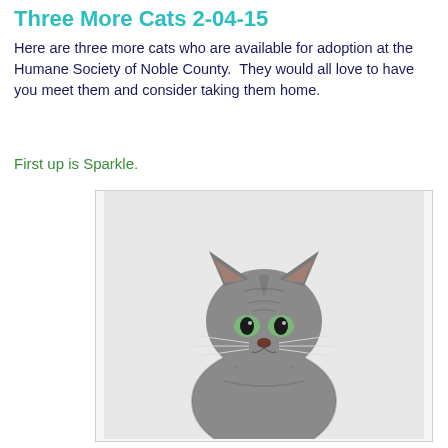Three More Cats 2-04-15
Here are three more cats who are available for adoption at the Humane Society of Noble County.  They would all love to have you meet them and consider taking them home.
First up is Sparkle.
[Figure (photo): Portrait photo of a grey tabby cat named Sparkle, facing forward with green eyes, against a white background.]